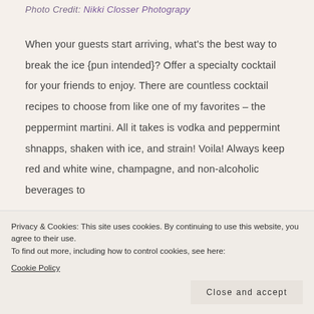Photo Credit: Nikki Closser Photograpy
When your guests start arriving, what's the best way to break the ice {pun intended}? Offer a specialty cocktail for your friends to enjoy. There are countless cocktail recipes to choose from like one of my favorites – the peppermint martini. All it takes is vodka and peppermint shnapps, shaken with ice, and strain! Voila! Always keep red and white wine, champagne, and non-alcoholic beverages to
Privacy & Cookies: This site uses cookies. By continuing to use this website, you agree to their use.
To find out more, including how to control cookies, see here: Cookie Policy